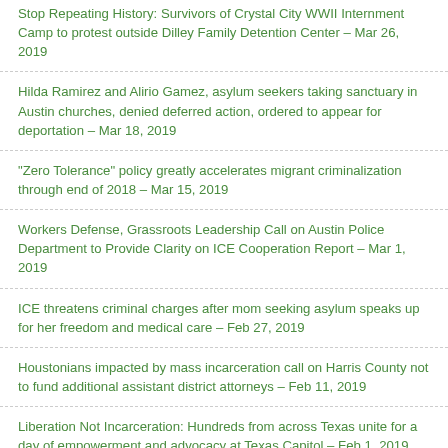Stop Repeating History: Survivors of Crystal City WWII Internment Camp to protest outside Dilley Family Detention Center – Mar 26, 2019
Hilda Ramirez and Alirio Gamez, asylum seekers taking sanctuary in Austin churches, denied deferred action, ordered to appear for deportation – Mar 18, 2019
“Zero Tolerance” policy greatly accelerates migrant criminalization through end of 2018 – Mar 15, 2019
Workers Defense, Grassroots Leadership Call on Austin Police Department to Provide Clarity on ICE Cooperation Report – Mar 1, 2019
ICE threatens criminal charges after mom seeking asylum speaks up for her freedom and medical care – Feb 27, 2019
Houstonians impacted by mass incarceration call on Harris County not to fund additional assistant district attorneys – Feb 11, 2019
Liberation Not Incarceration: Hundreds from across Texas unite for a day of empowerment and advocacy at Texas Capitol – Feb 1, 2019
Williamson County pulled out of contract with T. Don Hutto detention center, so why are the doors still open? – Jan 31, 2019